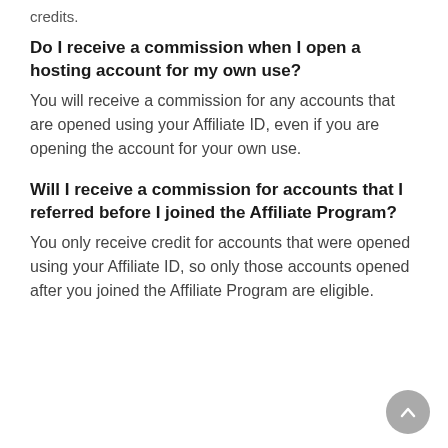credits.
Do I receive a commission when I open a hosting account for my own use?
You will receive a commission for any accounts that are opened using your Affiliate ID, even if you are opening the account for your own use.
Will I receive a commission for accounts that I referred before I joined the Affiliate Program?
You only receive credit for accounts that were opened using your Affiliate ID, so only those accounts opened after you joined the Affiliate Program are eligible.